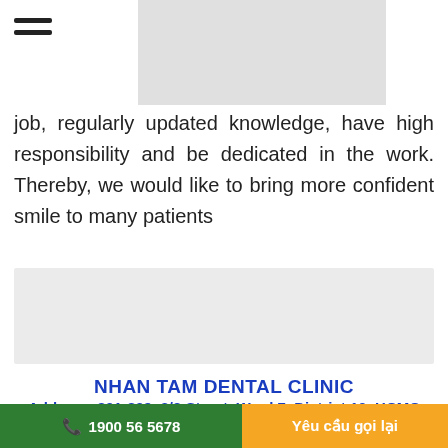[Figure (other): Hamburger menu icon (three horizontal lines) at top left]
[Figure (photo): Gray image placeholder at top center]
job, regularly updated knowledge, have high responsibility and be dedicated in the work. Thereby, we would like to bring more confident smile to many patients
[Figure (photo): Gray image placeholder in the middle section]
NHAN TAM DENTAL CLINIC
Address: 801-809, 3/2 Street, Ward 7, District 10, HCMC
Hotline:  1900 56 5678
The cl...
1900 56 5678   Yêu cầu gọi lại